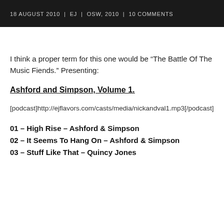18 AUGUST 2010  |  EJ  |  OSW, 2010  |  10 COMMENTS
I think a proper term for this one would be “The Battle Of The Music Fiends.” Presenting:
Ashford and Simpson, Volume 1.
[podcast]http://ejflavors.com/casts/media/nickandval1.mp3[/podcast]
01 – High Rise – Ashford & Simpson
02 – It Seems To Hang On – Ashford & Simpson
03 – Stuff Like That – Quincy Jones